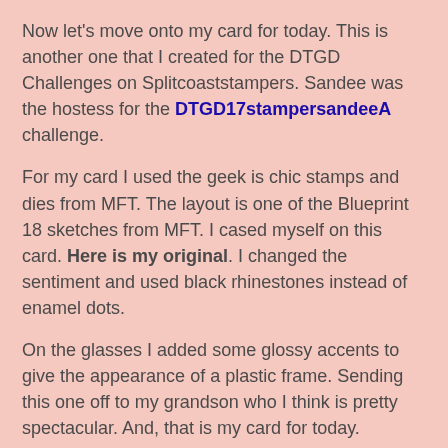Now let's move onto my card for today. This is another one that I created for the DTGD Challenges on Splitcoaststampers. Sandee was the hostess for the DTGD17stampersandeeA challenge.
For my card I used the geek is chic stamps and dies from MFT. The layout is one of the Blueprint 18 sketches from MFT. I cased myself on this card. Here is my original. I changed the sentiment and used black rhinestones instead of enamel dots.
On the glasses I added some glossy accents to give the appearance of a plastic frame. Sending this one off to my grandson who I think is pretty spectacular. And, that is my card for today.
So until next time..........God bless.
card details:
Stamps: geek is chic (MFT)
Paper: marina mist, black, garden green, Santorini Stripe DSP (BoBunny)